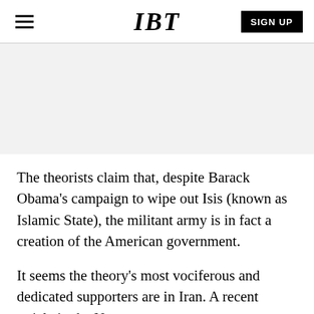IBT
[Figure (other): Advertisement or image placeholder area with light gray background]
The theorists claim that, despite Barack Obama's campaign to wipe out Isis (known as Islamic State), the militant army is in fact a creation of the American government.
It seems the theory's most vociferous and dedicated supporters are in Iran. A recent article in the New